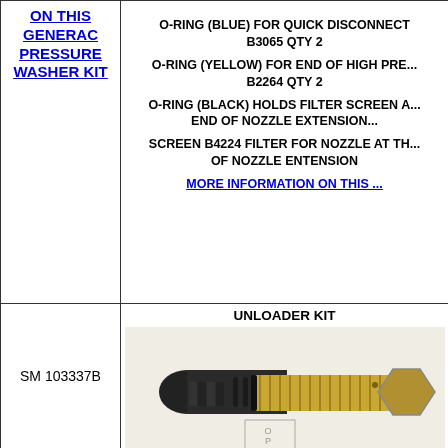ON THIS GENERAC PRESSURE WASHER KIT
O-RING (BLUE) FOR QUICK DISCONNECT B3065 QTY 2

O-RING (YELLOW) FOR END OF HIGH PRE... B2264 QTY 2

O-RING (BLACK) HOLDS FILTER SCREEN A... END OF NOZZLE EXTENSION...

SCREEN B4224 FILTER FOR NOZZLE AT TH... OF NOZZLE ENTENSION

MORE INFORMATION ON THIS ...
SM 103337B
UNLOADER KIT
[Figure (photo): Photo of an unloader kit component — a metallic valve assembly with a dark cylindrical end piece with spring coils visible, and a brass-colored threaded body with a hex nut, photographed against a white background with an OPE logo watermark.]